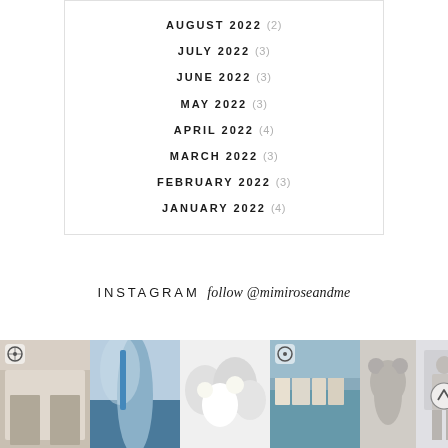ARCHIVE
AUGUST 2022 (2)
JULY 2022 (3)
JUNE 2022 (3)
MAY 2022 (3)
APRIL 2022 (4)
MARCH 2022 (3)
FEBRUARY 2022 (3)
JANUARY 2022 (4)
INSTAGRAM follow @mimiroseandme
[Figure (photo): A row of Instagram photos showing interior, outdoor, floral, coastal, toy and lifestyle scenes from @mimiroseandme]